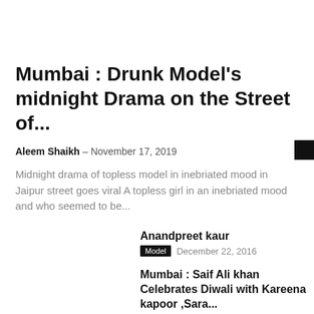Mumbai : Drunk Model’s midnight Drama on the Street of...
Aleem Shaikh – November 17, 2019
Midnight drama of topless model in inebriated mood in Jaipur street goes viral A topless girl in an inebriated mood and who seemed to be...
Anandpreet kaur
Model   December 22, 2016
Mumbai : Saif Ali khan Celebrates Diwali with Kareena kapoor ,Sara...
Uncategorized   October 27, 2019